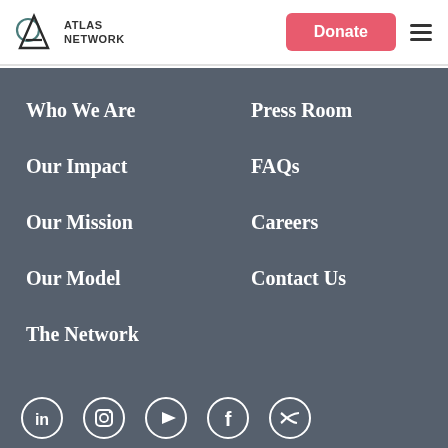Atlas Network
Who We Are
Our Impact
Our Mission
Our Model
The Network
Press Room
FAQs
Careers
Contact Us
[Figure (other): Social media icons: LinkedIn, Instagram, YouTube, Facebook, Twitter]